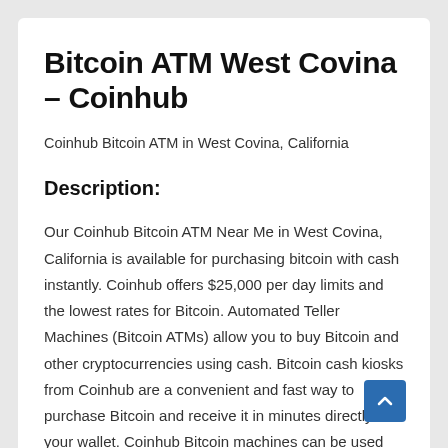Bitcoin ATM West Covina – Coinhub
Coinhub Bitcoin ATM in West Covina, California
Description:
Our Coinhub Bitcoin ATM Near Me in West Covina, California is available for purchasing bitcoin with cash instantly. Coinhub offers $25,000 per day limits and the lowest rates for Bitcoin. Automated Teller Machines (Bitcoin ATMs) allow you to buy Bitcoin and other cryptocurrencies using cash. Bitcoin cash kiosks from Coinhub are a convenient and fast way to purchase Bitcoin and receive it in minutes directly into your wallet. Coinhub Bitcoin machines can be used